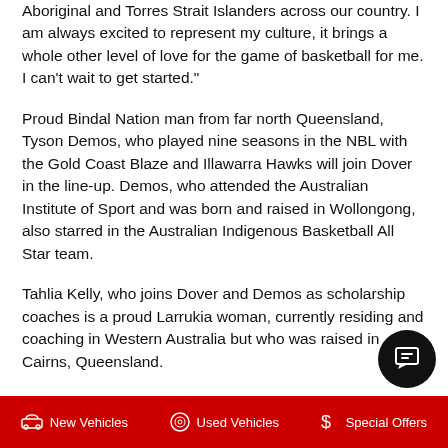Aboriginal and Torres Strait Islanders across our country. I am always excited to represent my culture, it brings a whole other level of love for the game of basketball for me. I can't wait to get started."
Proud Bindal Nation man from far north Queensland, Tyson Demos, who played nine seasons in the NBL with the Gold Coast Blaze and Illawarra Hawks will join Dover in the line-up. Demos, who attended the Australian Institute of Sport and was born and raised in Wollongong, also starred in the Australian Indigenous Basketball All Star team.
Tahlia Kelly, who joins Dover and Demos as scholarship coaches is a proud Larrukia woman, currently residing and coaching in Western Australia but who was raised in Cairns, Queensland.
New Vehicles   Used Vehicles   Special Offers